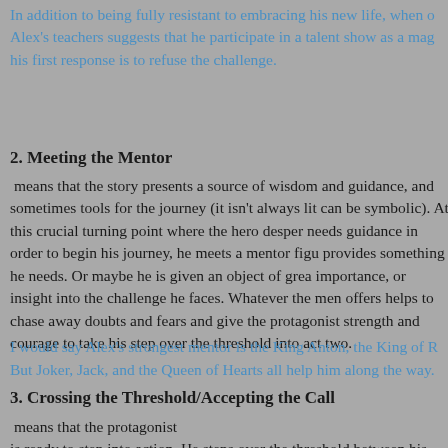In addition to being fully resistant to embracing his new life, when one of Alex's teachers suggests that he participate in a talent show as a magician, his first response is to refuse the challenge.
2. Meeting the Mentor
means that the story presents a source of wisdom and guidance, and sometimes tools for the journey (it isn't always literal, it can be symbolic). At this crucial turning point where the hero desperately needs guidance in order to begin his journey, he meets a mentor figure who provides something he needs. Or maybe he is given an object of great importance, or insight into the challenge he faces. Whatever the mentor offers helps to chase away doubts and fears and give the protagonist strength and courage to take his step over the threshold into act two.
I would say Alex's strongest mentor is the King Anton, the King of R... But Joker, Jack, and the Queen of Hearts all help him along the way.
3. Crossing the Threshold/Accepting the Call
means that the protagonist is ready to step into action. He steps over the threshold between his ...